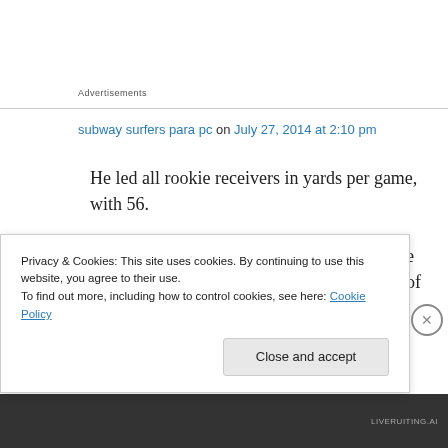Advertisements
subway surfers para pc on July 27, 2014 at 2:10 pm
He led all rookie receivers in yards per game, with 56. Unlike other attractions that the Golden Gate National Parks Conservancy have, it is free of charge to go to Ocean Beach. The
Privacy & Cookies: This site uses cookies. By continuing to use this website, you agree to their use.
To find out more, including how to control cookies, see here: Cookie Policy
Close and accept